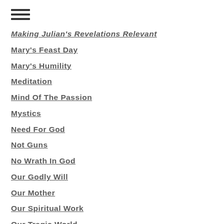Making Julian's Revelations Relevant
Mary's Feast Day
Mary's Humility
Meditation
Mind Of The Passion
Mystics
Need For God
Not Guns
No Wrath In God
Our Godly Will
Our Mother
Our Spiritual Work
Our Tragic World
Our Whole Life In Love